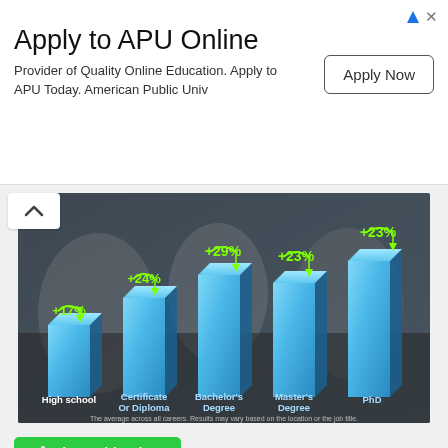Apply to APU Online
Provider of Quality Online Education. Apply to APU Today. American Public Univ
[Figure (bar-chart): Salary increase by education level]
The average across all careers. Results may vary based on the location or the job title.
[Figure (other): Share This Chart button with social sharing options: Tweet, Share (LinkedIn), Save (Pinterest), Get Chart Link]